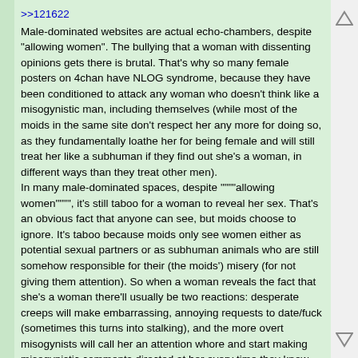>>121622
Male-dominated websites are actual echo-chambers, despite "allowing women". The bullying that a woman with dissenting opinions gets there is brutal. That's why so many female posters on 4chan have NLOG syndrome, because they have been conditioned to attack any woman who doesn't think like a misogynistic man, including themselves (while most of the moids in the same site don't respect her any more for doing so, as they fundamentally loathe her for being female and will still treat her like a subhuman if they find out she's a woman, in different ways than they treat other men).
In many male-dominated spaces, despite """"allowing women"""", it's still taboo for a woman to reveal her sex. That's an obvious fact that anyone can see, but moids choose to ignore. It's taboo because moids only see women either as potential sexual partners or as subhuman animals who are still somehow responsible for their (the moids') misery (for not giving them attention). So when a woman reveals the fact that she's a woman there'll usually be two reactions: desperate creeps will make embarrassing, annoying requests to date/fuck (sometimes this turns into stalking), and the more overt misogynists will call her an attention whore and start making misogynistic comments directed at her every time they know that the woman is present. Both are degrading.
Because moids are free to talk about male-only things such as their dicks, how much they want to fuck women, etc. but the moment a woman makes it obvious (even indirectly or by accident) that she was born with a vagina, she's an "attention whore" who "deserves" to be bullied. In such communities, it is an unspoken rule that you must not talk